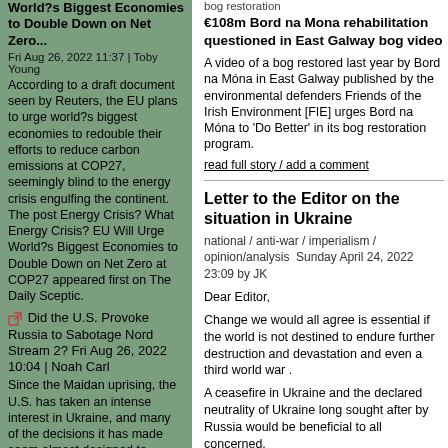World?s Biggest Economies to Double Down on Net Zero... Fri Aug 26, 2022 11:37 | Toby Young According to a draft document seen by Reuters, the EU plans to urge world?s biggest economies to redouble their efforts to reduce carbon emissions at COP27, seemingly blind to the energy crisis engulfing the continent. The post Energy Crisis? What Energy Crisis? EU Will Urge World?s Biggest Economies to Double Down on Net Zero at COP27 appeared first on The Daily Sceptic.
Did the U.S. Provoke Russia to Sabotage Nord Stream 2? Fri Aug 26, 2022 10:04 | Noah Carl Since the Maidan uprising, the U.S. has taken an intense interest in Ukraine, and many of the decisions it has made seem almost designed to provoke Russia. Was this all in aid of sabotaging the Nord Stream 2...
bog restoration
€108m Bord na Mona rehabilitation questioned in East Galway bog video
A video of a bog restored last year by Bord na Móna in East Galway published by the environmental defenders Friends of the Irish Environment [FIE] urges Bord na Móna to 'Do Better' in its bog restoration program.
read full story / add a comment
Letter to the Editor on the situation in Ukraine
national / anti-war / imperialism / opinion/analysis  Sunday April 24, 2022 23:09 by JK
Dear Editor,
Change we would all agree is essential if the world is not destined to endure further destruction and devastation and even a third world war .
A ceasefire in Ukraine and the declared neutrality of Ukraine long sought after by Russia would be beneficial to all concerned.
Would this not be preferable to an escalation of armed conflict which is all too often the outcome in the short...